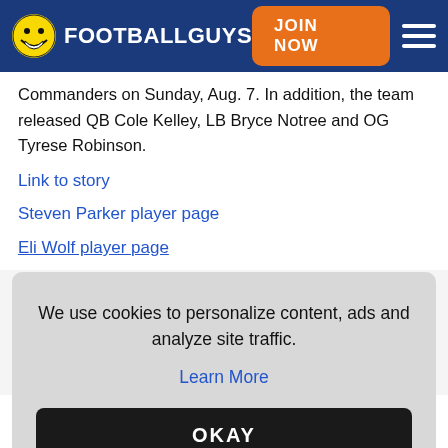FOOTBALLGUYS | JOIN NOW
Commanders on Sunday, Aug. 7. In addition, the team released QB Cole Kelley, LB Bryce Notree and OG Tyrese Robinson.
Link to story
Steven Parker player page
Eli Wolf player page
We use cookies to personalize content, ads and analyze site traffic.
Learn More
OKAY
Washington Commanders, according to a source Sunday, Aug. 7. Financial terms of the deal were